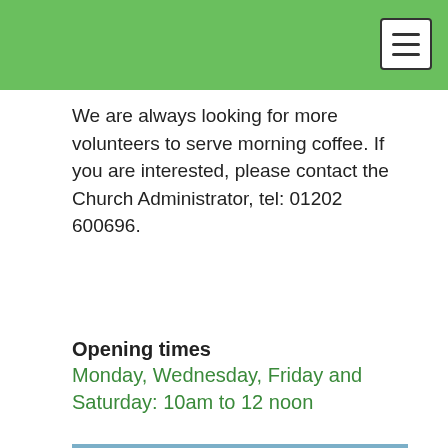We are always looking for more volunteers to serve morning coffee. If you are interested, please contact the Church Administrator, tel: 01202 600696.
Opening times
Monday, Wednesday, Friday and Saturday: 10am to 12 noon
[Figure (photo): Exterior photo of a church building showing a covered entrance with a wooden canopy structure, brick walls, slate roof, and glass doors.]